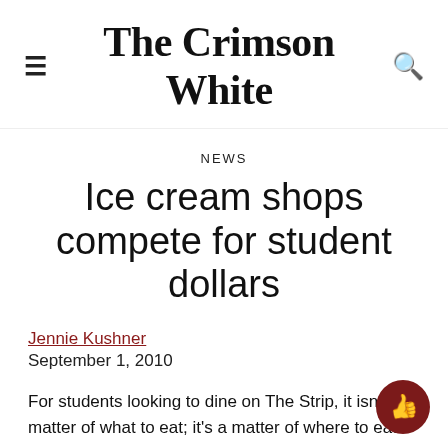The Crimson White
NEWS
Ice cream shops compete for student dollars
Jennie Kushner
September 1, 2010
For students looking to dine on The Strip, it isn’t a matter of what to eat; it’s a matter of where to eat.
The Strip offers several eateries, however most are the same cuisine. Panties, El Rincon and soon Moe’s